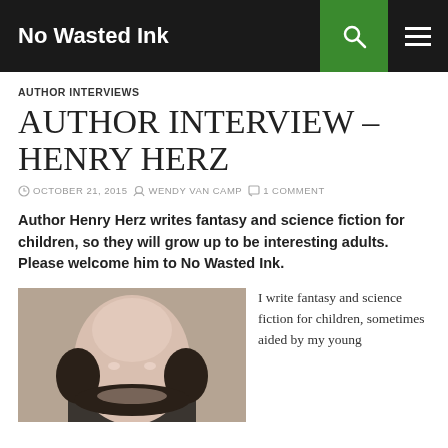No Wasted Ink
AUTHOR INTERVIEWS
AUTHOR INTERVIEW – HENRY HERZ
OCTOBER 21, 2015   WENDY VAN CAMP   1 COMMENT
Author Henry Herz writes fantasy and science fiction for children, so they will grow up to be interesting adults. Please welcome him to No Wasted Ink.
[Figure (photo): Head and shoulders photo of Henry Herz, a bald man with dark hair on the sides]
I write fantasy and science fiction for children, sometimes aided by my young